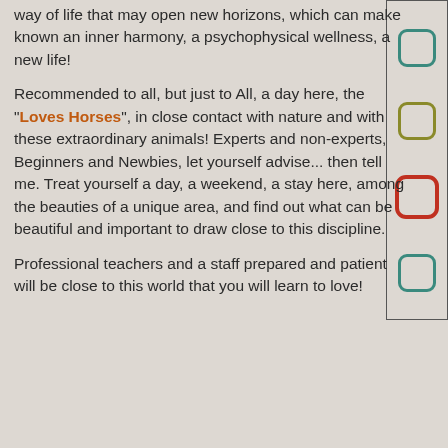way of life that may open new horizons, which can make known an inner harmony, a psychophysical wellness, a new life!
Recommended to all, but just to All, a day here, the "Loves Horses", in close contact with nature and with these extraordinary animals! Experts and non-experts, Beginners and Newbies, let yourself advise... then tell me. Treat yourself a day, a weekend, a stay here, among the beauties of a unique area, and find out what can be beautiful and important to draw close to this discipline.
Professional teachers and a staff prepared and patient will be close to this world that you will learn to love!
[Figure (infographic): Vertical sidebar with four rounded-square outlines in teal, olive, red (larger), and teal colors]